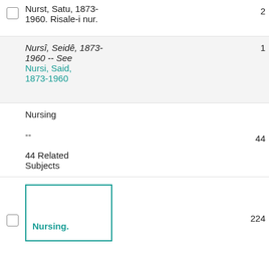Nursi, Said, 1873-1960. Risale-i nur.
Nursi, Seide, 1873-1960 -- See Nursi, Said, 1873-1960
Nursing -- 44 Related Subjects
Nursing.